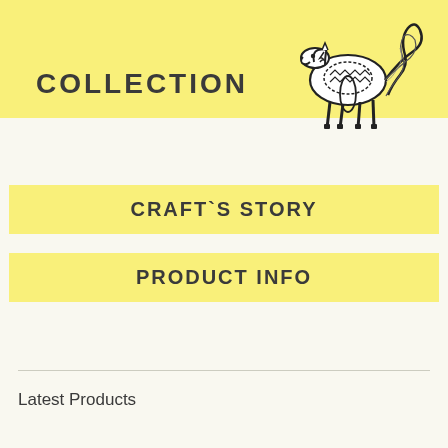COLLECTION
[Figure (illustration): Black and white line drawing of a decorative horse with ornate patterned saddle and flowing tail, positioned in upper right of yellow banner]
CRAFT`S STORY
PRODUCT INFO
Latest Products